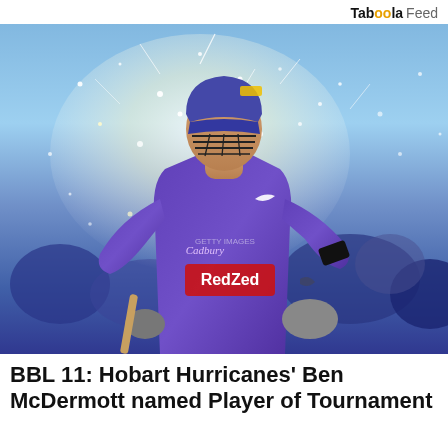Taboola Feed
[Figure (photo): Cricket player Ben McDermott of the Hobart Hurricanes wearing purple jersey with RedzZed sponsor, batting helmet with visor, surrounded by sparkling confetti/pyrotechnics celebration effect, crowd visible in background]
BBL 11: Hobart Hurricanes' Ben McDermott named Player of Tournament